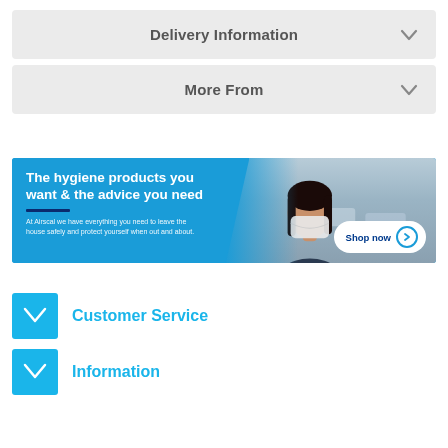Delivery Information
More From
[Figure (photo): Banner advertisement for hygiene products showing a woman wearing a face mask, with text 'The hygiene products you want & the advice you need' and a 'Shop now' button. Subtitle: 'At Airscal we have everything you need to leave the house safely and protect yourself when out and about.']
Customer Service
Information